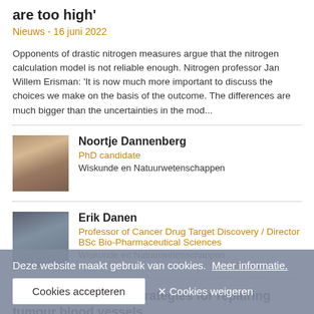are too high'
Nieuws - 16 juni 2022
Opponents of drastic nitrogen measures argue that the nitrogen calculation model is not reliable enough. Nitrogen professor Jan Willem Erisman: 'It is now much more important to discuss the choices we make on the basis of the outcome. The differences are much bigger than the uncertainties in the mod...
Noortje Dannenberg
PhD candidate
Wiskunde en Natuurwetenschappen
Erik Danen
Professor of Cancer Drug Target Discovery / Director BSc Bio-Pharmaceutical Sciences
Wiskunde en Natuurwetenschappen
Mathematics-based strategies for repairing tumour blood vessels
Onderzoeksproject
Deze website maakt gebruik van cookies.  Meer informatie.
Cookies accepteren   ✕ Cookies weigeren